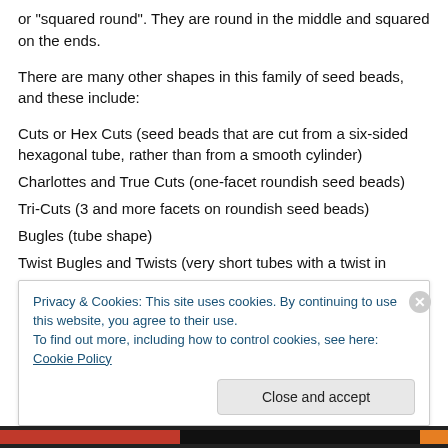or "squared round". They are round in the middle and squared on the ends.
There are many other shapes in this family of seed beads, and these include:
Cuts or Hex Cuts (seed beads that are cut from a six-sided hexagonal tube, rather than from a smooth cylinder)
Charlottes and True Cuts (one-facet roundish seed beads)
Tri-Cuts (3 and more facets on roundish seed beads)
Bugles (tube shape)
Twist Bugles and Twists (very short tubes with a twist in
Privacy & Cookies: This site uses cookies. By continuing to use this website, you agree to their use.
To find out more, including how to control cookies, see here: Cookie Policy
Close and accept